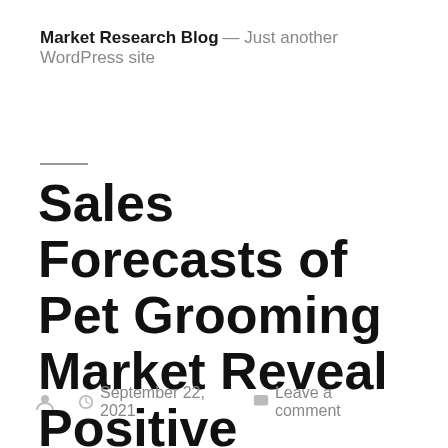Market Research Blog — Just another WordPress site
Sales Forecasts of Pet Grooming Market Reveal Positive Outlook Through 2030
September 22, 2021  Leave a comment